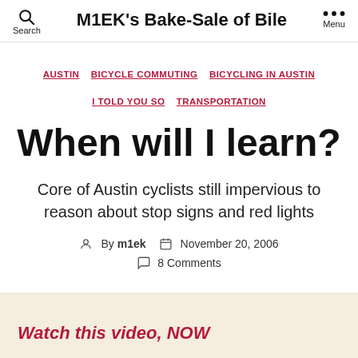M1EK's Bake-Sale of Bile
AUSTIN · BICYCLE COMMUTING · BICYCLING IN AUSTIN · I TOLD YOU SO · TRANSPORTATION
When will I learn?
Core of Austin cyclists still impervious to reason about stop signs and red lights
By m1ek  November 20, 2006  8 Comments
Watch this video, NOW